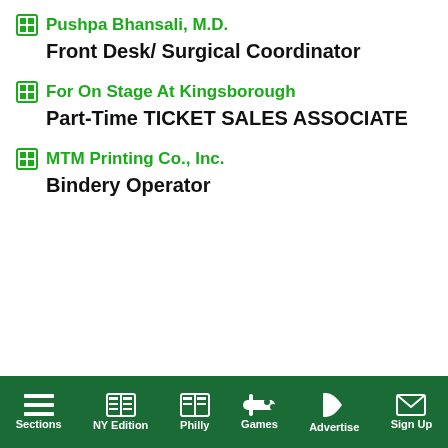Pushpa Bhansali, M.D.
Front Desk/ Surgical Coordinator
For On Stage At Kingsborough
Part-Time TICKET SALES ASSOCIATE
MTM Printing Co., Inc.
Bindery Operator
[Figure (screenshot): Video popup with title 'Stocks Close Near Session Lows on ...' and a close button, overlaying a black video player with a mute button and loading spinner, partially covering a gray sidebar with 'wsflashes' text]
Sections | NY Edition | Philly | Games | Advertise | Sign Up